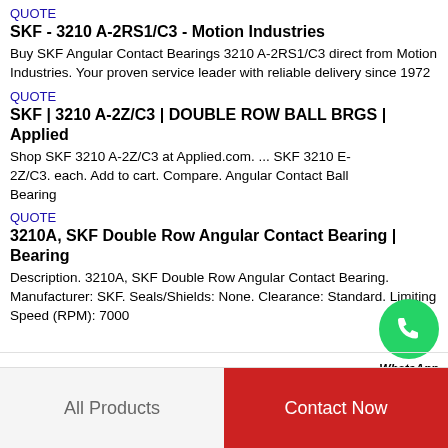QUOTE
SKF - 3210 A-2RS1/C3 - Motion Industries
Buy SKF Angular Contact Bearings 3210 A-2RS1/C3 direct from Motion Industries. Your proven service leader with reliable delivery since 1972
QUOTE
SKF | 3210 A-2Z/C3 | DOUBLE ROW BALL BRGS | Applied
Shop SKF 3210 A-2Z/C3 at Applied.com. ... SKF 3210 E-2Z/C3. each. Add to cart. Compare. Angular Contact Ball Bearing
[Figure (logo): WhatsApp green circle icon with phone handset, labeled WhatsApp Online]
QUOTE
3210A, SKF Double Row Angular Contact Bearing | Bearing
Description. 3210A, SKF Double Row Angular Contact Bearing. Manufacturer: SKF. Seals/Shields: None. Clearance: Standard. Limiting Speed (RPM): 7000
All Products
Contact Now